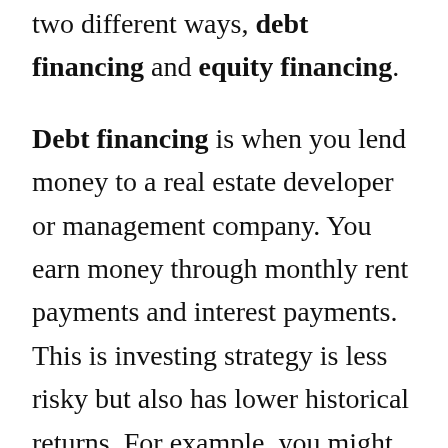two different ways, debt financing and equity financing.
Debt financing is when you lend money to a real estate developer or management company. You earn money through monthly rent payments and interest payments. This is investing strategy is less risky but also has lower historical returns. For example, you might only earn between 6% and 7% annually.
Equity financing is riskier and relies more on appreciating property values (i.e., flipping